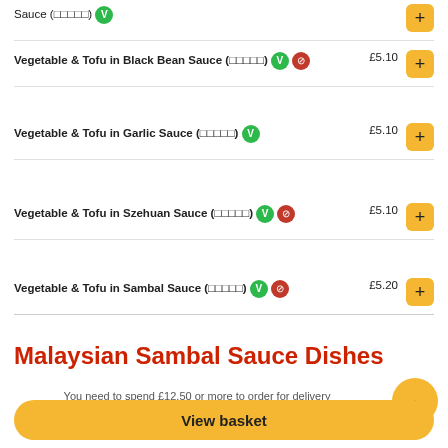Sauce (□□□□□) V
Vegetable & Tofu in Black Bean Sauce (□□□□□) V [spicy] £5.10
Vegetable & Tofu in Garlic Sauce (□□□□□) V £5.10
Vegetable & Tofu in Szehuan Sauce (□□□□□) V [spicy] £5.10
Vegetable & Tofu in Sambal Sauce (□□□□□) V [spicy] £5.20
Malaysian Sambal Sauce Dishes
You need to spend £12.50 or more to order for delivery
View basket